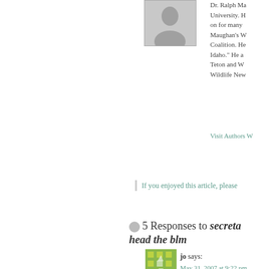[Figure (photo): Gray placeholder author avatar photo]
Dr. Ralph Ma... University. H... on for many ... Maughan's W... Coalition. He... Idaho." He a... Teton and W... Wildlife New...
Visit Authors W...
If you enjoyed this article, please...
5 Responses to secreta... head the blm
[Figure (illustration): Green geometric avatar icon for commenter jo]
jo says:
May 31, 2007 at 9:22 pm